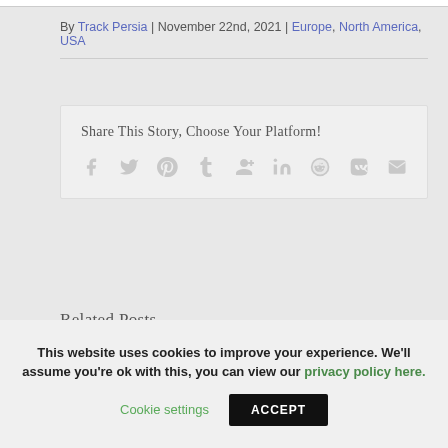By Track Persia | November 22nd, 2021 | Europe, North America, USA
Share This Story, Choose Your Platform!
[Figure (infographic): Social sharing icons: Facebook, Twitter, Pinterest, Tumblr, Google+, LinkedIn, Reddit, VK, Email]
Related Posts
This website uses cookies to improve your experience. We'll assume you're ok with this, you can view our privacy policy here.
Cookie settings  ACCEPT